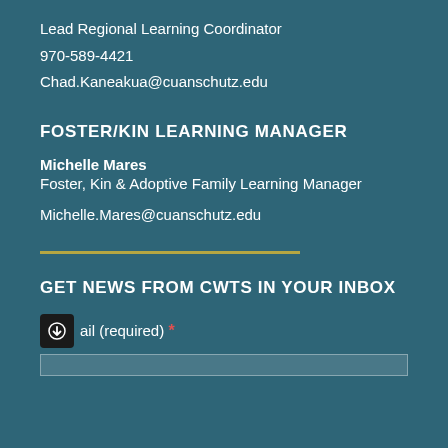Lead Regional Learning Coordinator
970-589-4421
Chad.Kaneakua@cuanschutz.edu
FOSTER/KIN LEARNING MANAGER
Michelle Mares
Foster, Kin & Adoptive Family Learning Manager
Michelle.Mares@cuanschutz.edu
GET NEWS FROM CWTS IN YOUR INBOX
Email (required) *